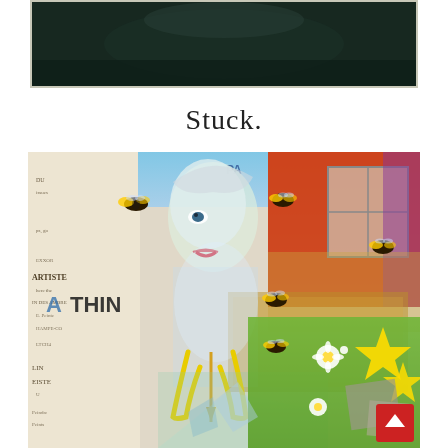[Figure (photo): Top photograph: dark teal/green background image, appears to be a close-up photo with dark tones, bordered with light frame]
Stuck.
[Figure (illustration): Large collage artwork featuring a mannequin figure with a painted face, bees, yellow slingshot, French text fragments, colorful collaged backgrounds including orange/red room, blue sky, green grass, yellow stars, white daisies, gold ornate frame, and various layered photographic elements]